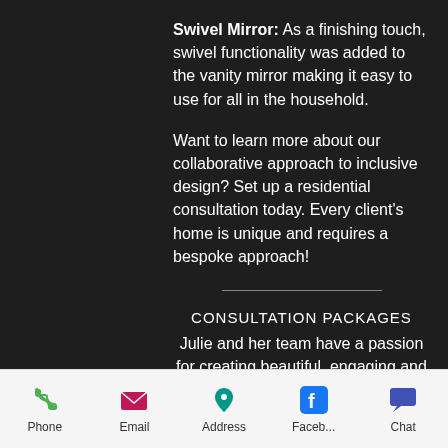Swivel Mirror: As a finishing touch, swivel functionality was added to the vanity mirror making it easy to use for all in the household.
Want to learn more about our collaborative approach to inclusive design? Set up a residential consultation today. Every client's home is unique and requires a bespoke approach!
CONSULTATION PACKAGES
Julie and her team have a passion for creating beautiful, engaging and
Phone   Email   Address   Faceb...   Chat